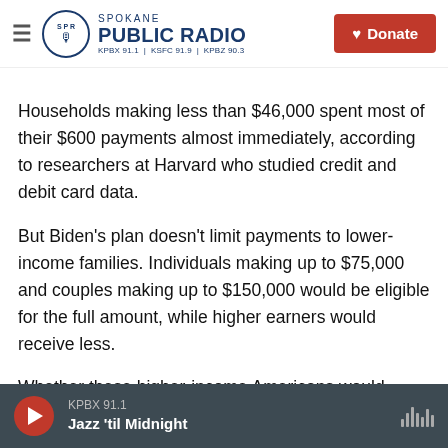Spokane Public Radio — KPBX 91.1 | KSFC 91.9 | KPBZ 90.3 | Donate
Households making less than $46,000 spent most of their $600 payments almost immediately, according to researchers at Harvard who studied credit and debit card data.
But Biden's plan doesn't limit payments to lower-income families. Individuals making up to $75,000 and couples making up to $150,000 would be eligible for the full amount, while higher earners would receive less.
Whether these higher-income Americans would
KPBX 91.1 — Jazz 'til Midnight